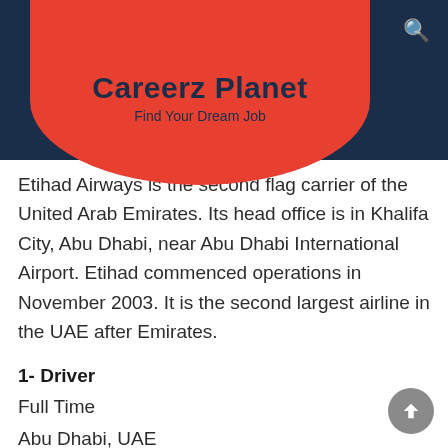Careeerz Planet – Find Your Dream Job
Etihad Airways is the second flag carrier of the United Arab Emirates. Its head office is in Khalifa City, Abu Dhabi, near Abu Dhabi International Airport. Etihad commenced operations in November 2003. It is the second largest airline in the UAE after Emirates.
1- Driver
Full Time
Abu Dhabi, UAE